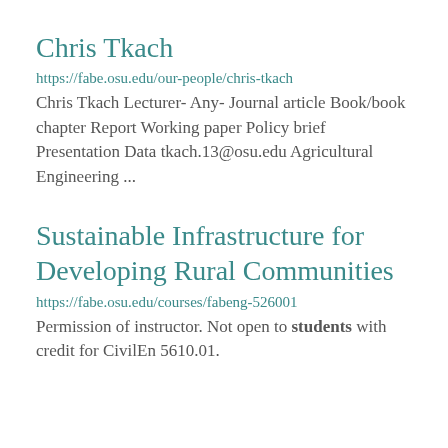Chris Tkach
https://fabe.osu.edu/our-people/chris-tkach
Chris Tkach Lecturer- Any- Journal article Book/book chapter Report Working paper Policy brief Presentation Data tkach.13@osu.edu Agricultural Engineering ...
Sustainable Infrastructure for Developing Rural Communities
https://fabe.osu.edu/courses/fabeng-526001
Permission of instructor. Not open to students with credit for CivilEn 5610.01.